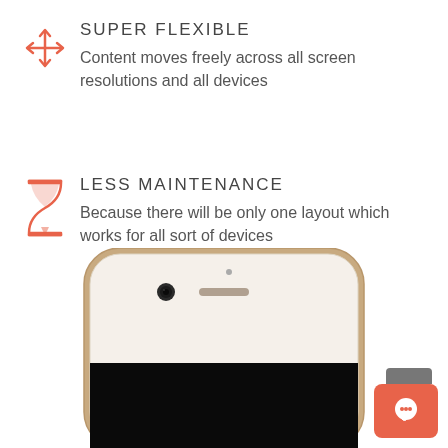[Figure (infographic): Orange move/arrow cross icon representing super flexible]
SUPER FLEXIBLE
Content moves freely across all screen resolutions and all devices
[Figure (infographic): Orange hourglass icon representing less maintenance]
LESS MAINTENANCE
Because there will be only one layout which works for all sort of devices
[Figure (photo): Top portion of a gold/white iPhone showing camera, earpiece and black screen area, with an orange chat bubble button in the bottom right corner]